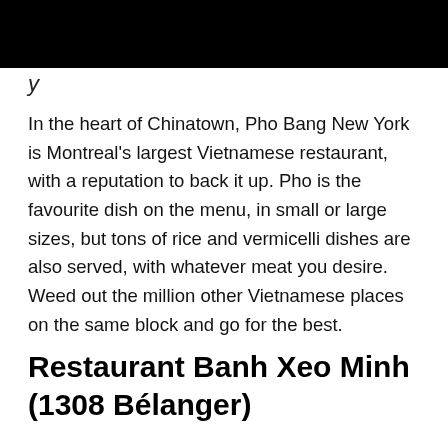In the heart of Chinatown, Pho Bang New York is Montreal's largest Vietnamese restaurant, with a reputation to back it up. Pho is the favourite dish on the menu, in small or large sizes, but tons of rice and vermicelli dishes are also served, with whatever meat you desire. Weed out the million other Vietnamese places on the same block and go for the best.
Restaurant Banh Xeo Minh (1308 Bélanger)